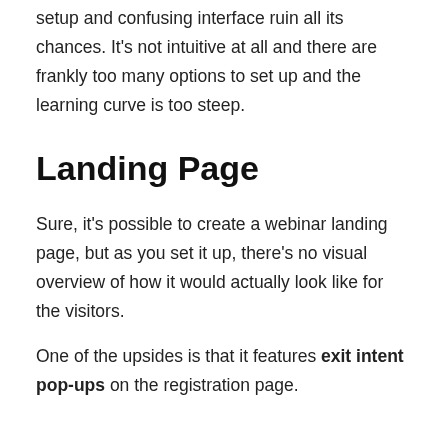setup and confusing interface ruin all its chances. It's not intuitive at all and there are frankly too many options to set up and the learning curve is too steep.
Landing Page
Sure, it's possible to create a webinar landing page, but as you set it up, there's no visual overview of how it would actually look like for the visitors.
One of the upsides is that it features exit intent pop-ups on the registration page.